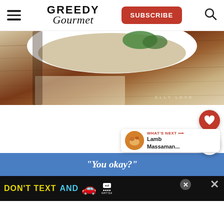Greedy Gourmet — navigation bar with SUBSCRIBE button and search icon
[Figure (photo): Top-down photo of a bowl of soup/porridge with green garnish, on a wooden surface. Watermark text 'ELLY LEVE' in bottom right.]
[Figure (screenshot): White content area with floating heart (favorite) button in red circle and share button in white circle on right side.]
[Figure (infographic): What's Next panel showing a food thumbnail and text 'Lamb Massaman...' with arrow label 'WHAT'S NEXT']
[Figure (screenshot): Blue advertisement banner with italic text '"You okay?"']
[Figure (screenshot): Black bottom ad banner: 'DON'T TEXT AND' with car emoji, ad choice icon, NHTSA logo, close button and X button]